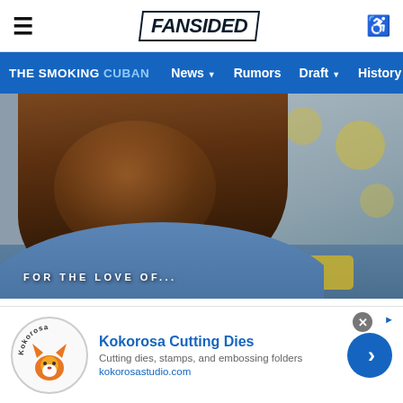FanSided navigation — hamburger, FanSided logo, accessibility icon
THE SMOKING CUBAN | News ▾ | Rumors | Draft ▾ | History | A…
[Figure (photo): A smiling young Black child in a blue shirt, photographed in a classroom with yellow decorations in background. Overlay text reads 'FOR THE LOVE OF...']
43. La Clippers
44. Atlanta Hawks
45. Charlotte Hornets
Kokorosa Cutting Dies — Cutting dies, stamps, and embossing folders — kokorosastudio.com